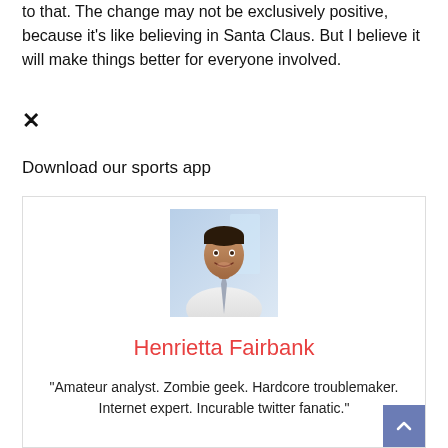to that. The change may not be exclusively positive, because it's like believing in Santa Claus. But I believe it will make things better for everyone involved.
✕
Download our sports app
[Figure (photo): Portrait photo of a smiling professional man in a white shirt and tie, with a blurred office background]
Henrietta Fairbank
"Amateur analyst. Zombie geek. Hardcore troublemaker. Internet expert. Incurable twitter fanatic."